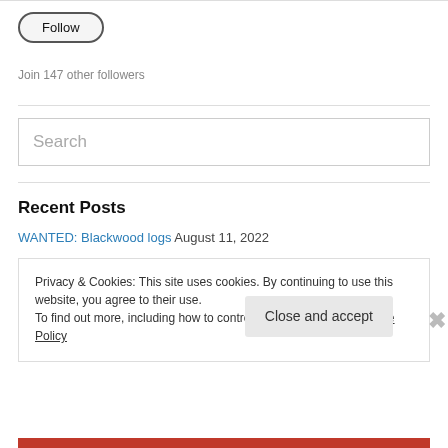[Figure (other): Follow button - rounded pill-shaped button with text 'Follow']
Join 147 other followers
[Figure (other): Search input box with placeholder text 'Search']
Recent Posts
WANTED: Blackwood logs August 11, 2022
Privacy & Cookies: This site uses cookies. By continuing to use this website, you agree to their use.
To find out more, including how to control cookies, see here: Cookie Policy
Close and accept